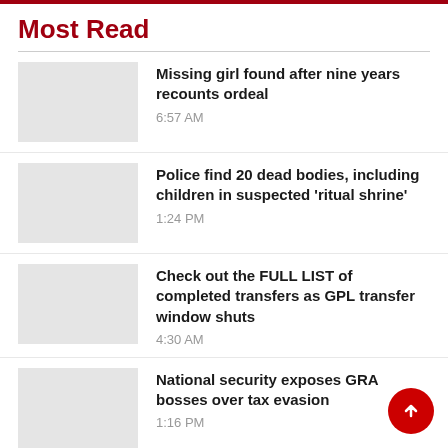Most Read
Missing girl found after nine years recounts ordeal
Police find 20 dead bodies, including children in suspected ‘ritual shrine’
Check out the FULL LIST of completed transfers as GPL transfer window shuts
National security exposes GRA bosses over tax evasion
Special Prosecutor bans Customs car auctions over corruption probe